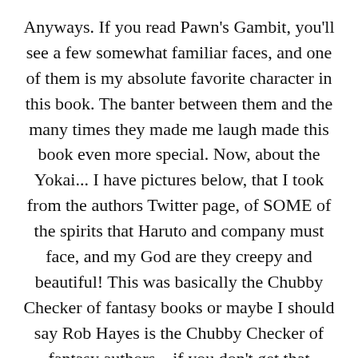Anyways. If you read Pawn's Gambit, you'll see a few somewhat familiar faces, and one of them is my absolute favorite character in this book. The banter between them and the many times they made me laugh made this book even more special. Now, about the Yokai... I have pictures below, that I took from the authors Twitter page, of SOME of the spirits that Haruto and company must face, and my God are they creepy and beautiful! This was basically the Chubby Checker of fantasy books or maybe I should say Rob Hayes is the Chubby Checker of fantasy authors... if you don't get that reference, just google him.
“Victory is worth any cost. Defeat is a coin with no